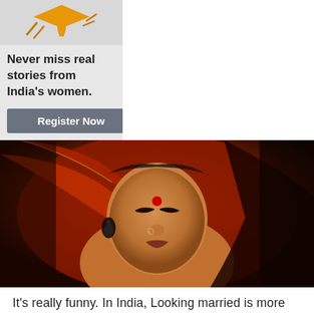[Figure (logo): Orange/gold mortarboard graduation cap with arrow logo on grey background]
Never miss real stories from India's women.
Register Now
[Figure (photo): Close-up photo of an Indian woman in traditional bridal wear (red/orange sari/dupatta draped over head), wearing a red bindi on her forehead, nose ring, and dark earrings, with eyes downcast]
It's really funny. In India, Looking married is more important than being happily married.